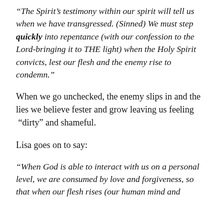“The Spirit’s testimony within our spirit will tell us when we have transgressed. (Sinned) We must step quickly into repentance (with our confession to the Lord-bringing it to THE light) when the Holy Spirit convicts, lest our flesh and the enemy rise to condemn.”
When we go unchecked, the enemy slips in and the lies we believe fester and grow leaving us feeling “dirty” and shameful.
Lisa goes on to say:
“When God is able to interact with us on a personal level, we are consumed by love and forgiveness, so that when our flesh rises (our human mind and